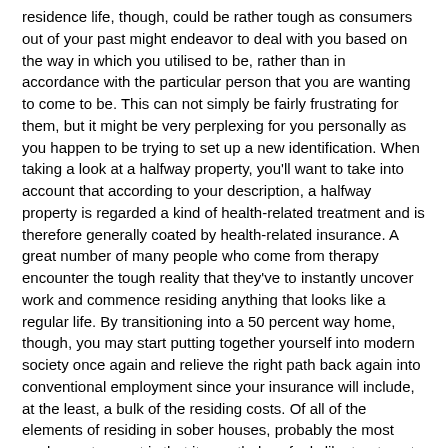residence life, though, could be rather tough as consumers out of your past might endeavor to deal with you based on the way in which you utilised to be, rather than in accordance with the particular person that you are wanting to come to be. This can not simply be fairly frustrating for them, but it might be very perplexing for you personally as you happen to be trying to set up a new identification. When taking a look at a halfway property, you'll want to take into account that according to your description, a halfway property is regarded a kind of health-related treatment and is therefore generally coated by health-related insurance. A great number of many people who come from therapy encounter the tough reality that they've to instantly uncover work and commence residing anything that looks like a regular life. By transitioning into a 50 percent way home, though, you may start putting together yourself into modern society once again and relieve the right path back again into conventional employment since your insurance will include, at the least, a bulk of the residing costs. Of all of the elements of residing in sober houses, probably the most unpleasant aspect is that it nonetheless feels like treatment. You're frequently needed to obey a deadline and follow property rules and regulations, which might contain submitting to frequent illegal drug screening and going to team classes. Even though this really is